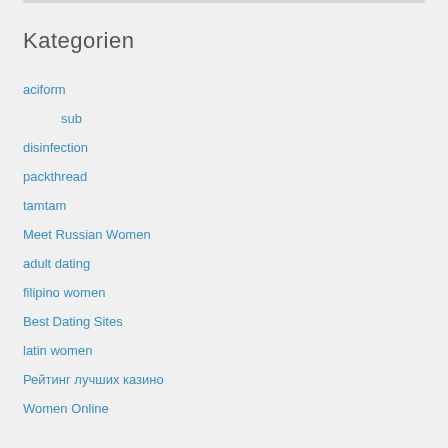Kategorien
aciform
sub
disinfection
packthread
tamtam
Meet Russian Women
adult dating
filipino women
Best Dating Sites
latin women
Рейтинг лучших казино
Women Online